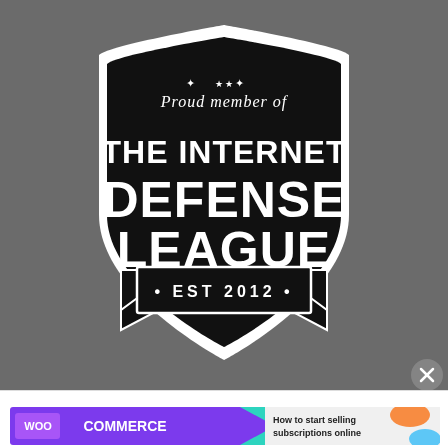[Figure (logo): Internet Defense League badge/shield logo on dark gray background. Black shield with white border containing text: 'Proud member of THE INTERNET DEFENSE LEAGUE EST 2012' with stars and decorative ribbon banner.]
Advertisements
[Figure (screenshot): WooCommerce advertisement banner: purple background with WooCommerce logo and arrow, white section reading 'How to start selling subscriptions online' with decorative colored shapes.]